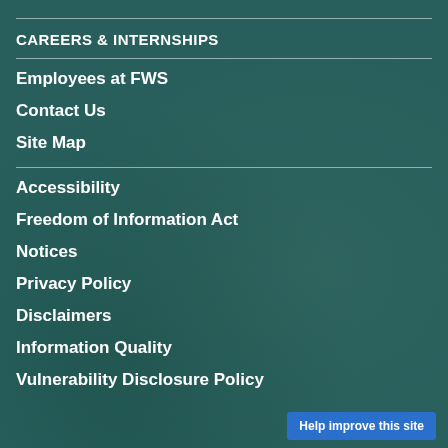CAREERS & INTERNSHIPS
Employees at FWS
Contact Us
Site Map
Accessibility
Freedom of Information Act
Notices
Privacy Policy
Disclaimers
Information Quality
Vulnerability Disclosure Policy
Help improve this site